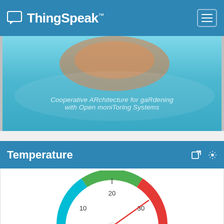ThingSpeak™
[Figure (other): Cooperative ARchitecture for gaRdening with Open moniToring Systems banner image with teal/blue gradient background]
Temperature
[Figure (other): Semicircular gauge showing temperature with colored arc segments: cyan (low), green (middle, around 20), red (high, around 30). Needle pointing to approximately 32.]
This website uses cookies to improve your user experience, personalize content and ads, and analyze website traffic. By continuing to use this website, you consent to our use of cookies. Please see our Privacy Policy to learn more about cookies and how to change your settings.